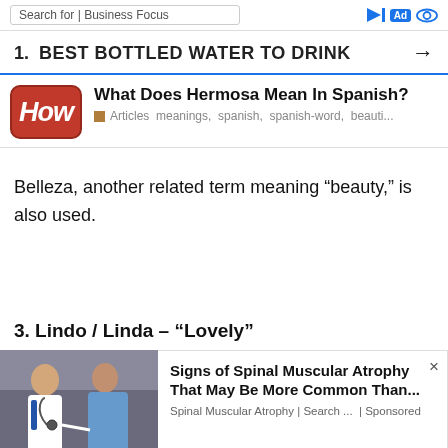Search for | Business Focus
1.   BEST BOTTLED WATER TO DRINK →
[Figure (logo): How logo — red rounded rectangle with italic white 'How' text]
What Does Hermosa Mean In Spanish?
Articles  meanings,  spanish,  spanish-word,  beauti...
Belleza, another related term meaning “beauty,” is also used.
3. Lindo / Linda – “Lovely”
[Figure (photo): Doctor examining patient — advertisement photo for Spinal Muscular Atrophy]
Signs of Spinal Muscular Atrophy That May Be More Common Than...
Spinal Muscular Atrophy | Search ...  | Sponsored
words b...
[Figure (screenshot): BitLife advertisement banner — FAIL text with fire graphic, BitLife logo, START A NEW LIFE text]